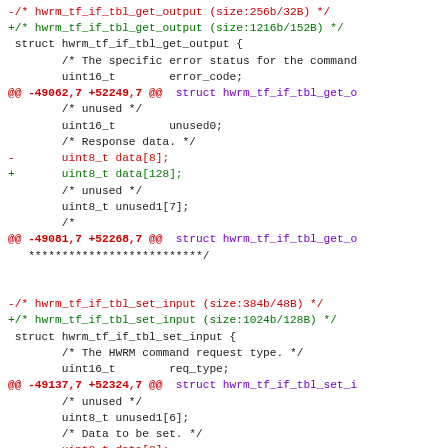Code diff showing changes to hwrm_tf_if_tbl_get_output and hwrm_tf_if_tbl_set_input structs
[Figure (screenshot): Unified diff of C struct definitions showing size changes from 256b/32B to 1216b/152B for hwrm_tf_if_tbl_get_output and 384b/48B to 1024b/128B for hwrm_tf_if_tbl_set_input, with data array sizes changing from data[8] to data[128] and data[8] to data[88] respectively.]